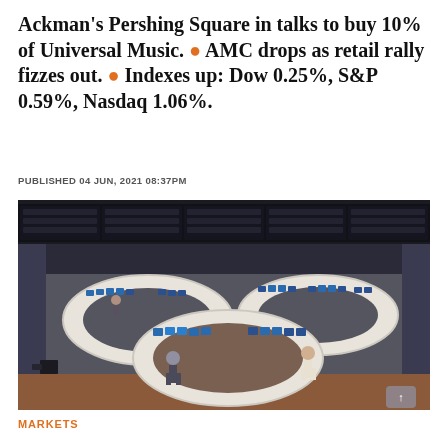Ackman's Pershing Square in talks to buy 10% of Universal Music. • AMC drops as retail rally fizzes out. • Indexes up: Dow 0.25%, S&P 0.59%, Nasdaq 1.06%.
PUBLISHED 04 JUN, 2021 08:37PM
[Figure (photo): Stock exchange trading floor with circular trading desks and multiple computer monitors. Traders visible at workstations. Large electronic ticker boards visible in the background.]
MARKETS